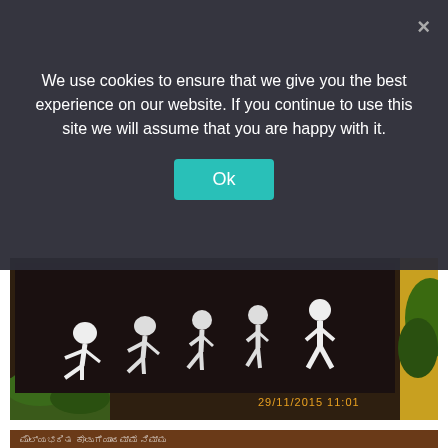We use cookies to ensure that we give you the best experience on our website. If you continue to use this site we will assume that you are happy with it.
[Figure (other): Cookie consent dialog with 'Ok' button and close (×) button on a dark semi-transparent overlay]
[Figure (photo): Photograph of a zoo/park sign showing human evolution silhouettes (ape to upright human), with timestamp 29/11/2015 11:01 in yellow]
[Figure (photo): Photograph of a zoo sign in Kannada and English reading 'Looking for a Unique Present? why not ADOPT an animal for a one of a Kind gift that keeps on giving?']